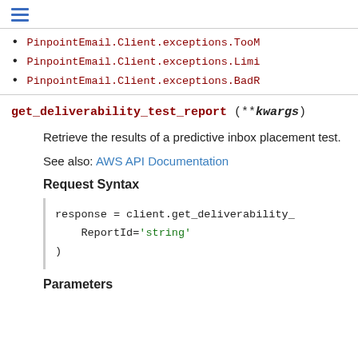[hamburger menu icon]
PinpointEmail.Client.exceptions.TooM
PinpointEmail.Client.exceptions.Limi
PinpointEmail.Client.exceptions.BadR
get_deliverability_test_report (**kwargs)
Retrieve the results of a predictive inbox placement test.
See also: AWS API Documentation
Request Syntax
response = client.get_deliverability_
    ReportId='string'
)
Parameters